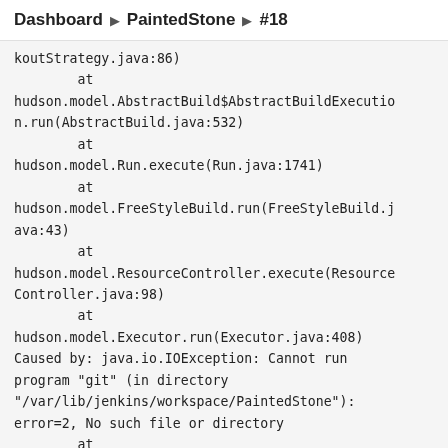Dashboard ▶ PaintedStone ▶ #18
koutStrategy.java:86)
        at
hudson.model.AbstractBuild$AbstractBuildExecution.run(AbstractBuild.java:532)
        at
hudson.model.Run.execute(Run.java:1741)
        at
hudson.model.FreeStyleBuild.run(FreeStyleBuild.java:43)
        at
hudson.model.ResourceController.execute(ResourceController.java:98)
        at
hudson.model.Executor.run(Executor.java:408)
Caused by: java.io.IOException: Cannot run program "git" (in directory "/var/lib/jenkins/workspace/PaintedStone"): error=2, No such file or directory
        at
java.lang.ProcessBuilder.start(ProcessBuilder.java:1042)